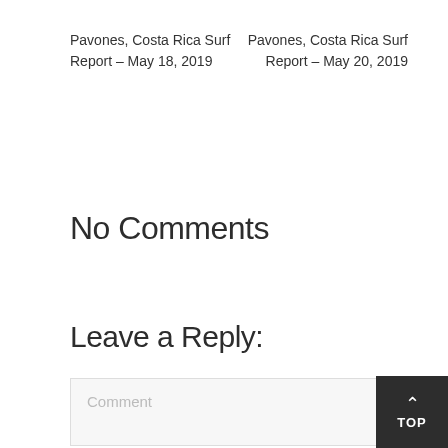Pavones, Costa Rica Surf Report – May 18, 2019
Pavones, Costa Rica Surf Report – May 20, 2019
No Comments
Leave a Reply:
Comment